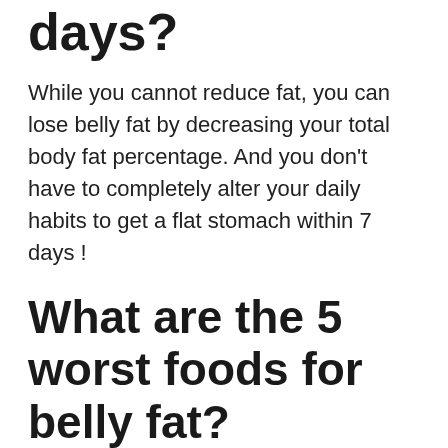days?
While you cannot reduce fat, you can lose belly fat by decreasing your total body fat percentage. And you don't have to completely alter your daily habits to get a flat stomach within 7 days !
What are the 5 worst foods for belly fat?
Processed meats are not only bad for your stomach but are linked to heart disease and stroke.
Processed meat. …
Fried foods. …
Milk and high-lactose dairy foods. …